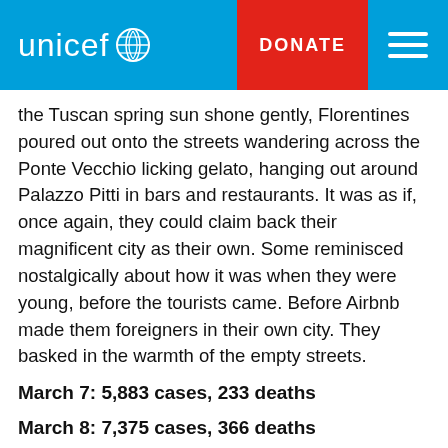unicef — DONATE
the Tuscan spring sun shone gently, Florentines poured out onto the streets wandering across the Ponte Vecchio licking gelato, hanging out around Palazzo Pitti in bars and restaurants. It was as if, once again, they could claim back their magnificent city as their own. Some reminisced nostalgically about how it was when they were young, before the tourists came. Before Airbnb made them foreigners in their own city. They basked in the warmth of the empty streets.
March 7: 5,883 cases, 233 deaths
March 8: 7,375 cases, 366 deaths
Then on Monday around midnight, we learned that I was to become the first country in the world to lockd entirely. Stay-at-home, stay-apart (minimum one meter)